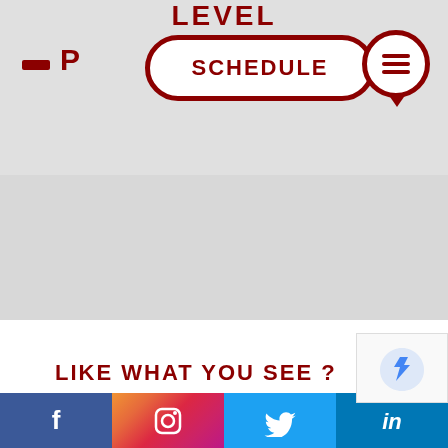LEVEL
[Figure (screenshot): Navigation bar with SCHEDULE pill button and hamburger menu circle icon]
LIKE WHAT YOU SEE ?
[Figure (infographic): Social media footer bar with Facebook, Instagram, Twitter, and LinkedIn icons]